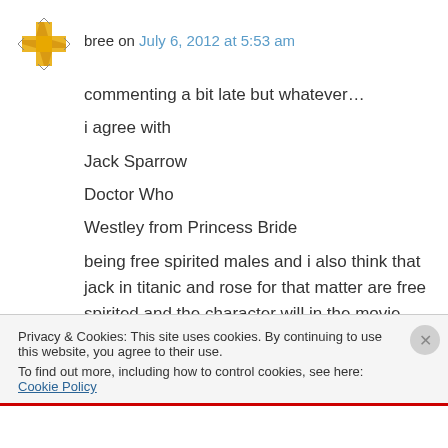bree on July 6, 2012 at 5:53 am
commenting a bit late but whatever…
i agree with
Jack Sparrow
Doctor Who
Westley from Princess Bride
being free spirited males and i also think that jack in titanic and rose for that matter are free spirited and the character will in the movie 'waiting for forever'
Privacy & Cookies: This site uses cookies. By continuing to use this website, you agree to their use.
To find out more, including how to control cookies, see here: Cookie Policy